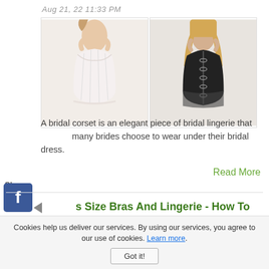Aug 21, 22 11:33 PM
[Figure (photo): Two corset photos side by side: white bridal corset (front view) and black corset (back view)]
A bridal corset is an elegant piece of bridal lingerie that many brides choose to wear under their bridal dress.
Read More
[Figure (logo): Facebook share icon (blue)]
[Figure (logo): Twitter share icon (blue)]
[Figure (logo): Pinterest share icon (red)]
Plus Size Bras And Lingerie - How To Get It Right | Love of Lingerie
Aug 21, 22 12:51 PM
Cookies help us deliver our services. By using our services, you agree to our use of cookies. Learn more.
Got it!